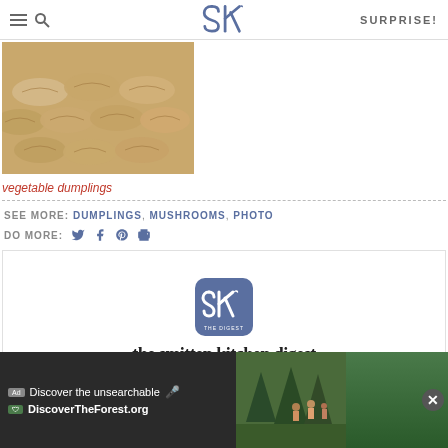SK — SURPRISE!
[Figure (photo): A tray of vegetable dumplings, golden-brown pleated dumplings arranged in a steamer or box]
vegetable dumplings
SEE MORE: DUMPLINGS, MUSHROOMS, PHOTO
DO MORE: [twitter] [facebook] [pinterest] [print]
[Figure (logo): Smitten Kitchen 'sk THE DIGEST' logo — rounded square app icon with SK lettering and 'THE DIGEST' text below]
the smitten kitchen digest
[Figure (screenshot): Advertisement banner: 'Discover the unsearchable — DiscoverTheForest.org' with forest background image and close button]